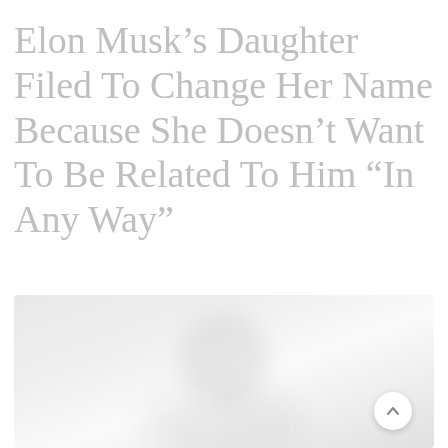Elon Musk’s Daughter Filed To Change Her Name Because She Doesn’t Want To Be Related To Him “In Any Way”
[Figure (photo): A blurred, faded photograph with light grayish tones, appearing to show one or more people but rendered too blurry to make out details clearly. A scroll-to-top button with a chevron/caret icon is overlaid in the bottom-right corner.]